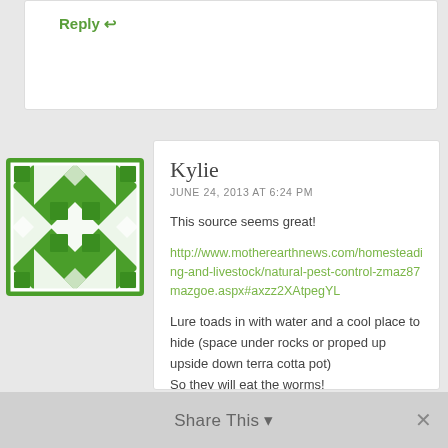Reply ↩
[Figure (illustration): Green geometric quilt/mosaic avatar pattern — white diamonds and triangles on green background]
Kylie
JUNE 24, 2013 AT 6:24 PM
This source seems great!
http://www.motherearthnews.com/homesteading-and-livestock/natural-pest-control-zmaz87mazgoe.aspx#axzz2XAtpegYL
Lure toads in with water and a cool place to hide (space under rocks or proped up upside down terra cotta pot)
So they will eat the worms!
Reply ↩
Share This ▾